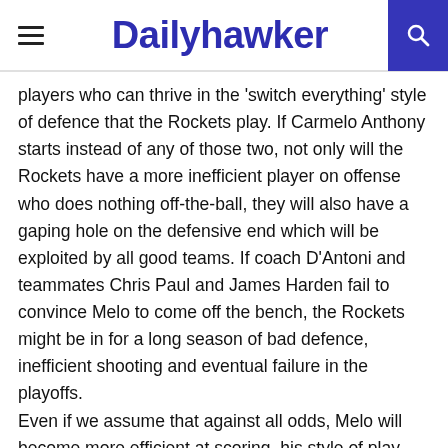Dailyhawker
players who can thrive in the 'switch everything' style of defence that the Rockets play. If Carmelo Anthony starts instead of any of those two, not only will the Rockets have a more inefficient player on offense who does nothing off-the-ball, they will also have a gaping hole on the defensive end which will be exploited by all good teams. If coach D'Antoni and teammates Chris Paul and James Harden fail to convince Melo to come off the bench, the Rockets might be in for a long season of bad defence, inefficient shooting and eventual failure in the playoffs.
Even if we assume that against all odds, Melo will become more efficient at scoring, his style of play still awkwardly with the highly successful 'shoot threes till you are dead' offensive philosophy that the Houston Rockets